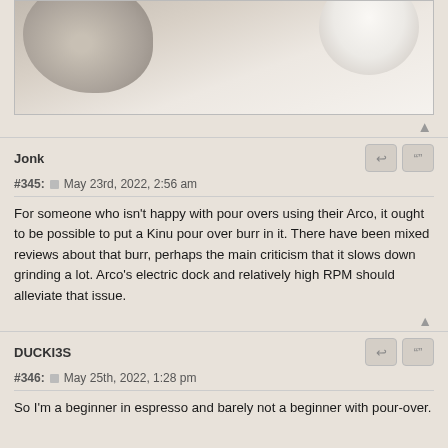[Figure (photo): Top-down photo of coffee cups on a light surface, partially cropped at top of page]
Jonk
#345:  May 23rd, 2022, 2:56 am
For someone who isn't happy with pour overs using their Arco, it ought to be possible to put a Kinu pour over burr in it. There have been mixed reviews about that burr, perhaps the main criticism that it slows down grinding a lot. Arco's electric dock and relatively high RPM should alleviate that issue.
DUCKI3S
#346:  May 25th, 2022, 1:28 pm
So I'm a beginner in espresso and barely not a beginner with pour-over.